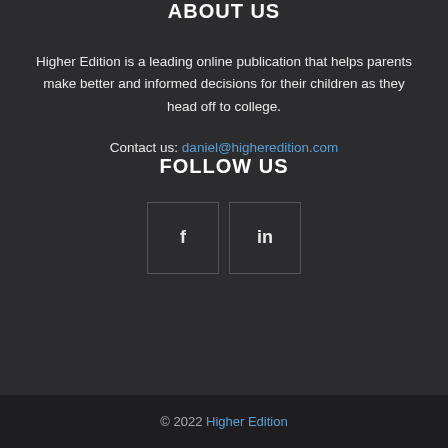ABOUT US
Higher Edition is a leading online publication that helps parents make better and informed decisions for their children as they head off to college.
Contact us: daniel@higheredition.com
FOLLOW US
[Figure (other): Two social media icon boxes: Facebook (f) and LinkedIn (in)]
© 2022 Higher Edition